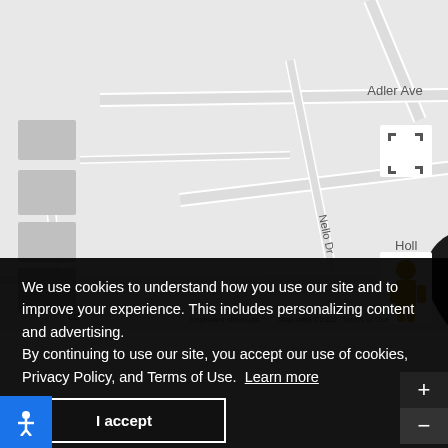[Figure (map): Google Maps screenshot showing a street map with a black location pin marker near Echo Ave and Hollo area. Streets visible include Adler Ave, Echo Ave, Nello Dr, Friar Way, Camden Ave. Gray building footprints visible on left side.]
We use cookies to understand how you use our site and to improve your experience. This includes personalizing content and advertising.
By continuing to use our site, you accept our use of cookies, Privacy Policy, and Terms of Use.  Learn more
I accept